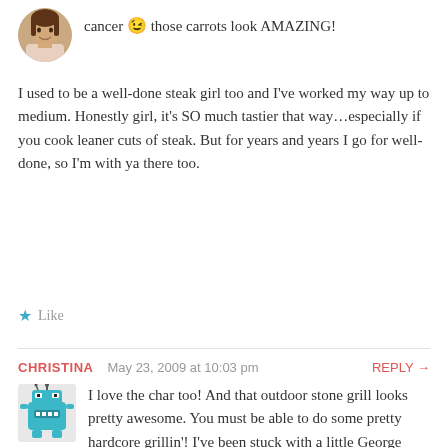cancer 😉 those carrots look AMAZING!
I used to be a well-done steak girl too and I've worked my way up to medium. Honestly girl, it's SO much tastier that way...especially if you cook leaner cuts of steak. But for years and years I go for well-done, so I'm with ya there too.
Like
CHRISTINA  May 23, 2009 at 10:03 pm  REPLY →
I love the char too! And that outdoor stone grill looks pretty awesome. You must be able to do some pretty hardcore grillin'! I've been stuck with a little George Foreman because we ran out of gas for our grill 😐